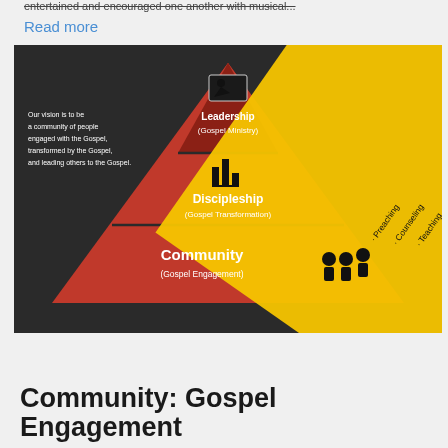entertained and encouraged one another with musical...
Read more
[Figure (infographic): Pyramid infographic showing three levels of gospel-centered community: Community (Gospel Engagement) at the base with bullet points Church Attendance, Small Group Bible Study, Informal Relationships; Discipleship (Gospel Transformation) in the middle with Stewardship, One-on-one Discipleship, Church Membership, Baptism, Conversion, Biblical Literacy; Leadership (Gospel Ministry) at the top with Preaching, Counseling, Teaching, Discipleship Training, Evangelism Training. Left side shows vision statement: Our vision is to be a community of people engaged with the Gospel, transformed by the Gospel, and leading others to the Gospel.]
Community: Gospel Engagement